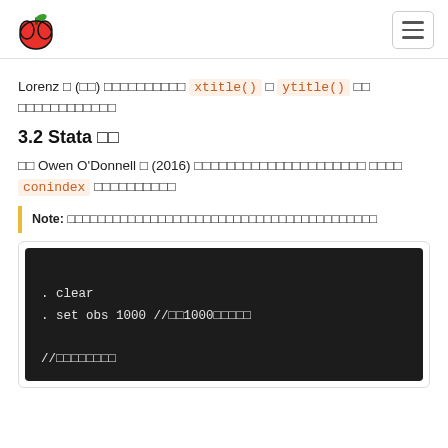[Apple logo] [hamburger menu]
Lorenz □ (□□) □□□□□□□□□□ xtitle() □ ytitle() □□ □□□□□□□□□□□□
3.2 Stata □□
□□ Owen O'Donnell □ (2016) □□□□□□□□□□□□□□□□□□□□□ □□□□ conindex □□□□□□□□□□
Note: □□□□□□□□□□□□□□□□□□□□□□□□□□□□□□□□□□□□□□□□□
. clear
. set obs 1000 //□□1000□□□□□

//□□□□□□□□